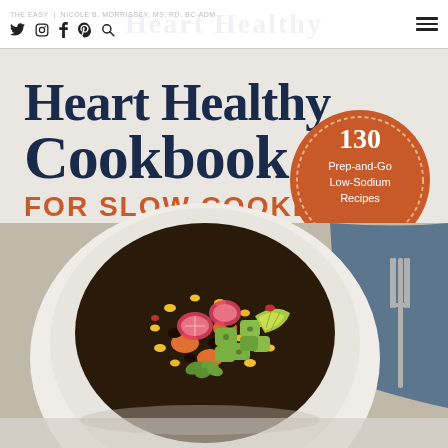THE EASY | Nicole B. Morrissey MS, RD, BC-ADM — social icons: Twitter, Instagram, Facebook, Pinterest, Search — hamburger menu
[Figure (photo): Book cover of 'The Easy Heart Healthy Cookbook for Slow Cookers' by Nicole B. Morrissey MS, RD, BC-ADM. Features a bowl of black bean and avocado slow cooker dish with radishes, corn, cilantro, and lime. An orange circle badge reads '130 Prep-and-Go Low-Sodium Recipes'. A blue cloth napkin and fork are visible to the right. Book title text: 'Heart Healthy Cookbook FOR SLOW COOKERS'. Partial reflection of the bowl is visible at the bottom.]